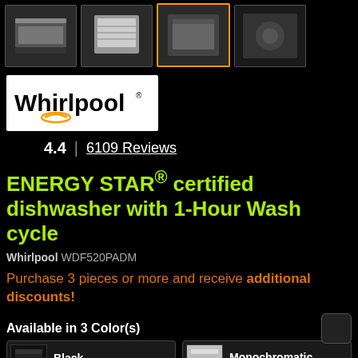[Figure (photo): Four product thumbnails of a Whirlpool dishwasher shown from different angles/contexts]
[Figure (logo): Whirlpool brand logo on white background]
4.4  |  6109 Reviews
ENERGY STAR® certified dishwasher with 1-Hour Wash cycle
Whirlpool WDF520PADM
Purchase 3 pieces or more and receive additional discounts!
Available in 3 Color(s)
Black
WDF520PADB
Monochromatic Stainless Steel